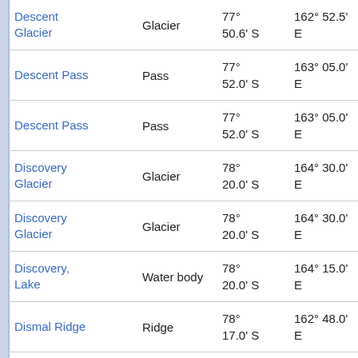| Name | Type | Latitude | Longitude | Elevation |
| --- | --- | --- | --- | --- |
| Descent Glacier | Glacier | 77° 50.6' S | 162° 52.5' E | 26. at 3 |
| Descent Pass | Pass | 77° 52.0' S | 163° 05.0' E | 21. at 3 |
| Descent Pass | Pass | 77° 52.0' S | 163° 05.0' E | 21. at 3 |
| Discovery Glacier | Glacier | 78° 20.0' S | 164° 30.0' E | 41. at 1 |
| Discovery Glacier | Glacier | 78° 20.0' S | 164° 30.0' E | 41. at 1 |
| Discovery, Lake | Water body | 78° 20.0' S | 164° 15.0' E | 38. at 1 |
| Dismal Ridge | Ridge | 78° 17.0' S | 162° 48.0' E | 38. at 2 |
| Dismal Ridge | Ridge | 78° 17.0' S | 162° 48.0' E | 38. |